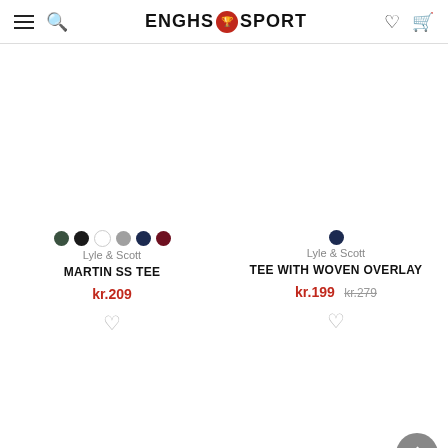ENGHS SPORT
[Figure (photo): Product image area for MARTIN SS TEE (blank/white)]
Lyle & Scott
MARTIN SS TEE
kr.209
[Figure (photo): Product image area for TEE WITH WOVEN OVERLAY (blank/white)]
Lyle & Scott
TEE WITH WOVEN OVERLAY
kr.199 kr.279